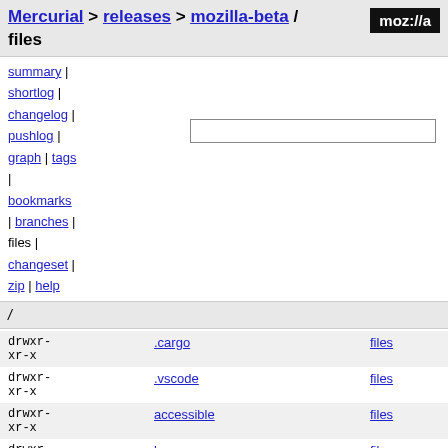Mercurial > releases > mozilla-beta / files
summary | shortlog | changelog | pushlog | graph | tags | bookmarks | branches | files | changeset | zip | help
/
| permissions | name | action |
| --- | --- | --- |
| drwxr-xr-x | .cargo | files |
| drwxr-xr-x | .vscode | files |
| drwxr-xr-x | accessible | files |
| drwxr-xr-x | browser | files |
| drwxr-xr-x | build | files |
| drwxr-xr-x | caps | files |